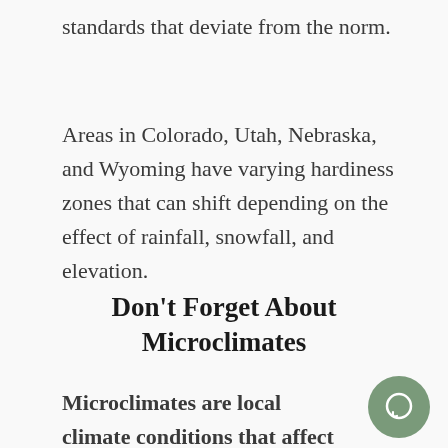standards that deviate from the norm.
Areas in Colorado, Utah, Nebraska, and Wyoming have varying hardiness zones that can shift depending on the effect of rainfall, snowfall, and elevation.
Don't Forget About Microclimates
Microclimates are local climate conditions that affect smaller areas.
[Figure (illustration): Green circular chat bubble icon in the bottom-right corner]